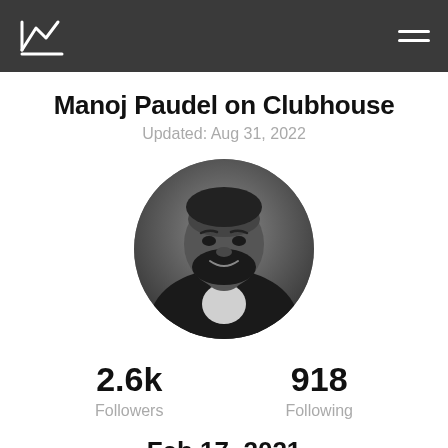Manoj Paudel on Clubhouse (site header with logo)
Manoj Paudel on Clubhouse
Updated: Aug 31, 2022
[Figure (photo): Black and white circular profile photo of a man with a beard wearing a dark blazer and light shirt, smiling]
2.6k Followers   918 Following
Feb 17, 2021